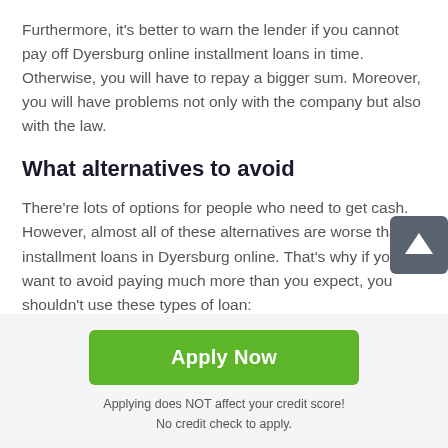Furthermore, it's better to warn the lender if you cannot pay off Dyersburg online installment loans in time. Otherwise, you will have to repay a bigger sum. Moreover, you will have problems not only with the company but also with the law.
What alternatives to avoid
There're lots of options for people who need to get cash. However, almost all of these alternatives are worse than installment loans in Dyersburg online. That's why if you want to avoid paying much more than you expect, you shouldn't use these types of loan:
[Figure (other): Scroll-to-top button with upward arrow icon on dark grey rounded square background]
Apply Now
Applying does NOT affect your credit score!
No credit check to apply.